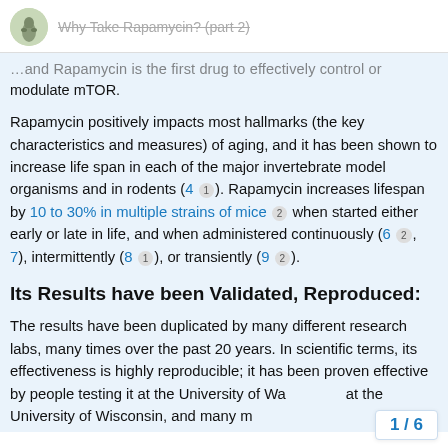Why Take Rapamycin? (part 2)
…and Rapamycin is the first drug to effectively control or modulate mTOR.
Rapamycin positively impacts most hallmarks (the key characteristics and measures) of aging, and it has been shown to increase life span in each of the major invertebrate model organisms and in rodents (4 1). Rapamycin increases lifespan by 10 to 30% in multiple strains of mice 2 when started either early or late in life, and when administered continuously (6 2, 7), intermittently (8 1), or transiently (9 2).
Its Results have been Validated, Reproduced:
The results have been duplicated by many different research labs, many times over the past 20 years. In scientific terms, its effectiveness is highly reproducible; it has been proven effective by people testing it at the University of Wa… at the University of Wisconsin, and many m…